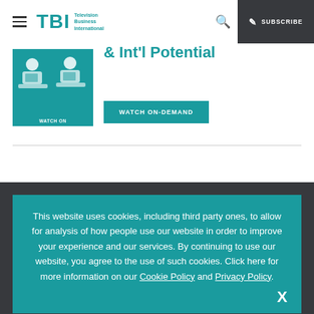TBI Television Business International — SUBSCRIBE
[Figure (screenshot): Partial cropped banner showing a teal promotional image with figures at desks and a 'WATCH ON-DEMAND' button, with partial heading '& Int'l Potential']
WATCH ON-DEMAND
This website uses cookies, including third party ones, to allow for analysis of how people use our website in order to improve your experience and our services. By continuing to use our website, you agree to the use of such cookies. Click here for more information on our Cookie Policy and Privacy Policy.